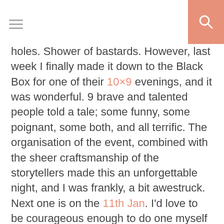[hamburger menu] [search icon]
holes. Shower of bastards. However, last week I finally made it down to the Black Box for one of their 10×9 evenings, and it was wonderful. 9 brave and talented people told a tale; some funny, some poignant, some both, and all terrific. The organisation of the event, combined with the sheer craftsmanship of the storytellers made this an unforgettable night, and I was frankly, a bit awestruck. Next one is on the 11th Jan. I'd love to be courageous enough to do one myself but the standard was so high I fear I'd look like a total prick. But regardless whether I share a tale or not I'll be there. My New Year's Resolution is to do more quality things-if 2016 has taught me anything it's that life is fleeting and fragile, so do what makes the heart soar.